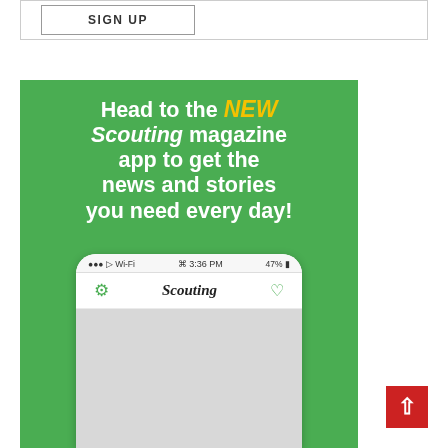SIGN UP
[Figure (illustration): Green advertisement banner for the Scouting magazine app. White bold text reads: Head to the NEW (in yellow italic) Scouting (italic) magazine app to get the news and stories you need every day! Below is a phone mockup showing the Scouting app interface with status bar showing Wi-Fi, 3:36 PM, 47%, and a green gear icon, Scouting title, and bell icon.]